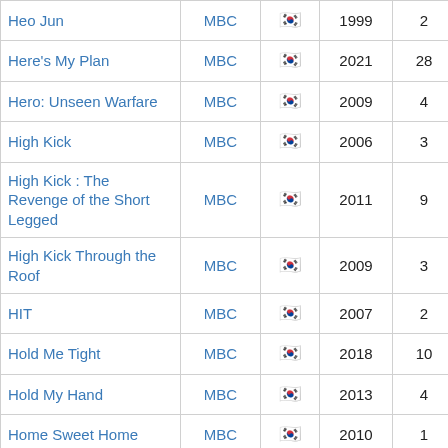| Title | Network | Country | Year | Seasons | Rating |  |
| --- | --- | --- | --- | --- | --- | --- |
| Heo Jun | MBC | 🇰🇷 | 1999 | 2 |  | F |
| Here's My Plan | MBC | 🇰🇷 | 2021 | 28 | 8.53 | F |
| Hero: Unseen Warfare | MBC | 🇰🇷 | 2009 | 4 | 8.98 | F |
| High Kick | MBC | 🇰🇷 | 2006 | 3 |  | F |
| High Kick : The Revenge of the Short Legged | MBC | 🇰🇷 | 2011 | 9 | 8.96 | F |
| High Kick Through the Roof | MBC | 🇰🇷 | 2009 | 3 | 8.23 | F |
| HIT | MBC | 🇰🇷 | 2007 | 2 | 10 | F |
| Hold Me Tight | MBC | 🇰🇷 | 2018 | 10 | 8.5 | F |
| Hold My Hand | MBC | 🇰🇷 | 2013 | 4 | 9.97 | F |
| Home Sweet Home | MBC | 🇰🇷 | 2010 | 1 |  | F |